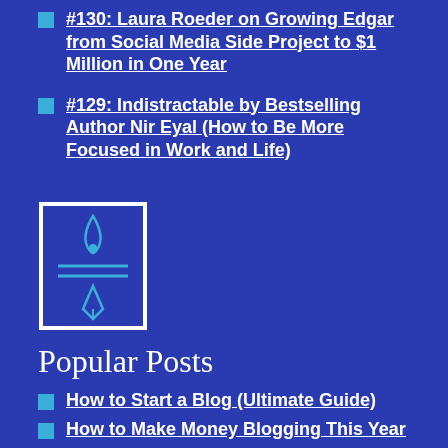#130: Laura Roeder on Growing Edgar from Social Media Side Project to $1 Million in One Year
#129: Indistractable by Bestselling Author Nir Eyal (How to Be More Focused in Work and Life)
[Figure (logo): Logo with flame and pen/pencil icons inside a rectangular border]
Popular Posts
How to Start a Blog (Ultimate Guide)
How to Make Money Blogging This Year